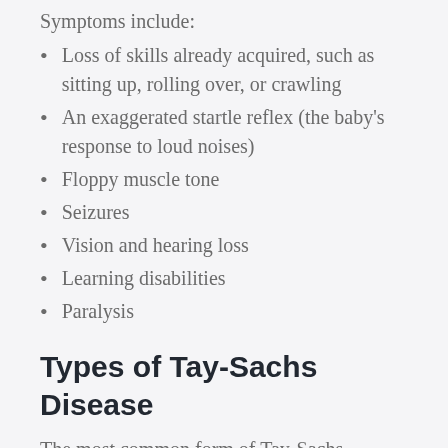Symptoms include:
Loss of skills already acquired, such as sitting up, rolling over, or crawling
An exaggerated startle reflex (the baby's response to loud noises)
Floppy muscle tone
Seizures
Vision and hearing loss
Learning disabilities
Paralysis
Types of Tay-Sachs Disease
The most common form of Tay-Sachs